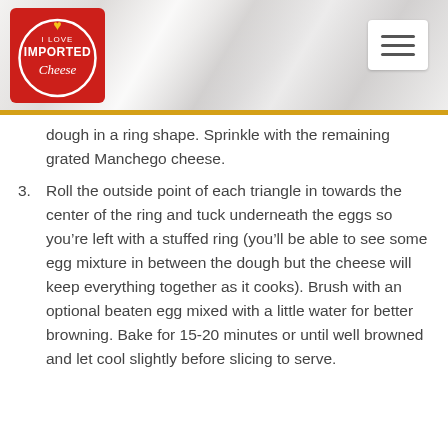[Figure (logo): I Love Imported Cheese logo — red square background with white circular border and text reading 'I LOVE IMPORTED Cheese' with a heart-shaped cheese icon]
dough in a ring shape. Sprinkle with the remaining grated Manchego cheese.
3. Roll the outside point of each triangle in towards the center of the ring and tuck underneath the eggs so you’re left with a stuffed ring (you’ll be able to see some egg mixture in between the dough but the cheese will keep everything together as it cooks). Brush with an optional beaten egg mixed with a little water for better browning. Bake for 15-20 minutes or until well browned and let cool slightly before slicing to serve.